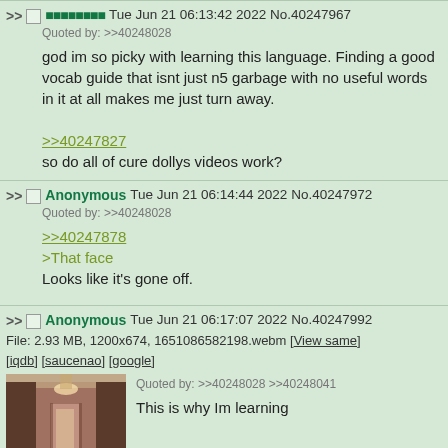>> [hash] Tue Jun 21 06:13:42 2022 No.40247967
Quoted by: >>40248028
god im so picky with learning this language. Finding a good vocab guide that isnt just n5 garbage with no useful words in it at all makes me just turn away.
>>40247827
so do all of cure dollys videos work?
>> Anonymous Tue Jun 21 06:14:44 2022 No.40247972
Quoted by: >>40248028
>>40247878
>That face
Looks like it's gone off.
>> Anonymous Tue Jun 21 06:17:07 2022 No.40247992
File: 2.93 MB, 1200x674, 1651086582198.webm [View same] [iqdb] [saucenao] [google]
Quoted by: >>40248028 >>40248041
This is why Im learning